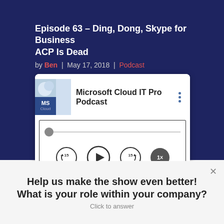Episode 63 – Ding, Dong, Skype for Business ACP Is Dead
by Ben | May 17, 2018 | Podcast
[Figure (screenshot): Microsoft Cloud IT Pro Podcast audio player widget with play, skip-back 15s, skip-forward 15s, and 1x speed controls. Progress bar shown near start.]
Help us make the show even better! What is your role within your company?
Click to answer